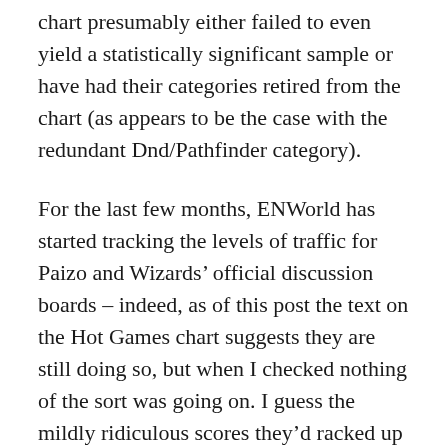chart presumably either failed to even yield a statistically significant sample or have had their categories retired from the chart (as appears to be the case with the redundant Dnd/Pathfinder category).
For the last few months, ENWorld has started tracking the levels of traffic for Paizo and Wizards' official discussion boards – indeed, as of this post the text on the Hot Games chart suggests they are still doing so, but when I checked nothing of the sort was going on. I guess the mildly ridiculous scores they'd racked up made it obvious that tracking these in parallel to the mentions of RPGs was a ridiculous apples-and-oranges comparison that didn't really offer any insightful information.